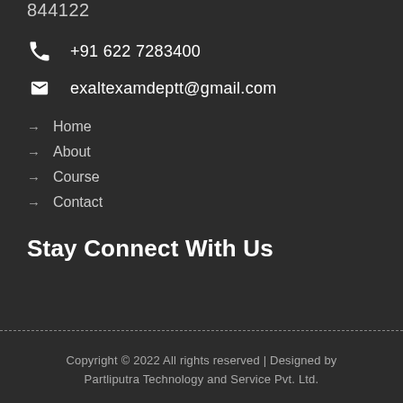844122
+91 622 7283400
exaltexamdeptt@gmail.com
→ Home
→ About
→ Course
→ Contact
Stay Connect With Us
Copyright © 2022 All rights reserved | Designed by Partliputra Technology and Service Pvt. Ltd.